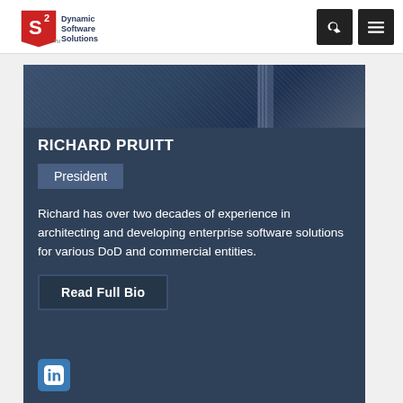[Figure (logo): Dynamic Software Solutions logo with S2 mark]
[Figure (photo): Photo of Richard Pruitt in dark suit and tie, partial top view]
RICHARD PRUITT
President
Richard has over two decades of experience in architecting and developing enterprise software solutions for various DoD and commercial entities.
Read Full Bio
[Figure (logo): LinkedIn icon button]
(850) 389-8369
RICH.PRUITT@DS2.COM